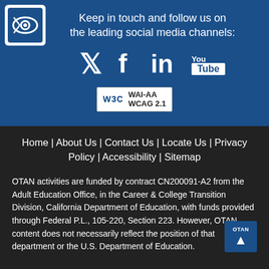[Figure (logo): OTAN logo — white eye icon on blue square background]
Keep in touch and follow us on the leading social media channels:
[Figure (infographic): Social media icons: Twitter bird, Facebook f, LinkedIn in, YouTube logo]
[Figure (logo): W3C WAI-AA WCAG 2.1 accessibility badge]
Home | About Us | Contact Us | Locate Us | Privacy Policy | Accessibility | Sitemap
OTAN activities are funded by contract CN200091-A2 from the Adult Education Office, in the Career & College Transition Division, California Department of Education, with funds provided through Federal P.L., 105-220, Section 223. However, OTAN content does not necessarily reflect the position of that department or the U.S. Department of Education.